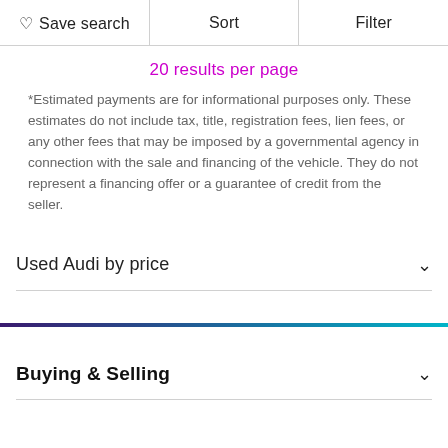Save search  Sort  Filter
20 results per page
*Estimated payments are for informational purposes only. These estimates do not include tax, title, registration fees, lien fees, or any other fees that may be imposed by a governmental agency in connection with the sale and financing of the vehicle. They do not represent a financing offer or a guarantee of credit from the seller.
Used Audi by price
Buying & Selling